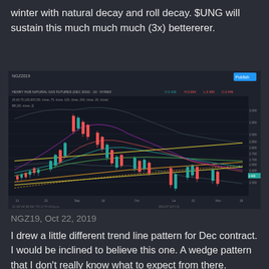winter with natural decay and roll decay. $UNG will sustain this much much much (3x) bettererer.
[Figure (screenshot): TradingView candlestick chart of NGZ2019 (Henry Hub Natural Gas Futures, Dec 2019), 1D timeframe on NYMEX, showing price action from approximately August to November 2019 with moving averages, Bollinger bands, and trend lines. Price shows a rise and fall pattern with a wedge formation near the end.]
NGZ19, Oct 22, 2019
I drew a little different trend line pattern for Dec contract. I would be inclined to believe this one. A wedge pattern that I don't really know what to expect from there.